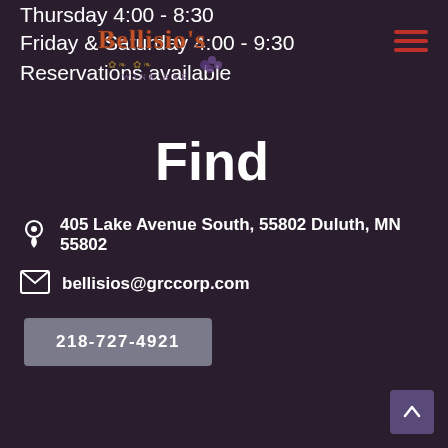Thursday 4:00 - 8:30
Friday & Saturday 4:00 - 9:30
Reservations available
[Figure (logo): Bellisio's Wine Bar logo with decorative grapes and vine imagery]
Find
405 Lake Avenue South, 55802 Duluth, MN 55802
bellisios@grccorp.com
218-727-4921